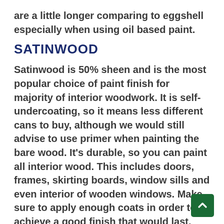are a little longer comparing to eggshell especially when using oil based paint.
SATINWOOD
Satinwood is 50% sheen and is the most popular choice of paint finish for majority of interior woodwork. It is self-undercoating, so it means less different cans to buy, although we would still advise to use primer when painting the bare wood. It’s durable, so you can paint all interior wood. This includes doors, frames, skirting boards, window sills and even interior of wooden windows. Make sure to apply enough coats in order to achieve a good finish that would last. Water based satinwood intends to leave more visible brush lines compared to oil based satinwood, so